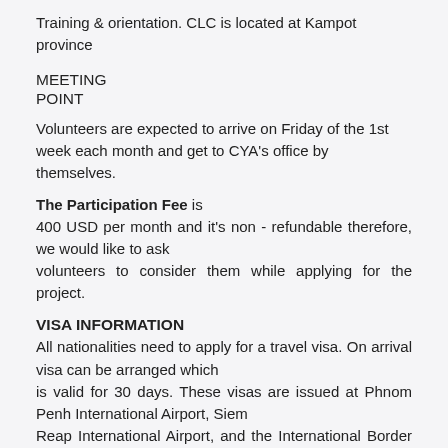Training & orientation. CLC is located at Kampot province
MEETING
POINT
Volunteers are expected to arrive on Friday of the 1st week each month and get to CYA's office by themselves.
The Participation Fee is 400 USD per month and it's non - refundable therefore, we would like to ask volunteers to consider them while applying for the project.
VISA INFORMATION
All nationalities need to apply for a travel visa. On arrival visa can be arranged which is valid for 30 days. These visas are issued at Phnom Penh International Airport, Siem Reap International Airport, and the International Border Checkpoints. The Cambodian visa can also be granted at any Royal Cambodian Embassy or Consulate abroad. The